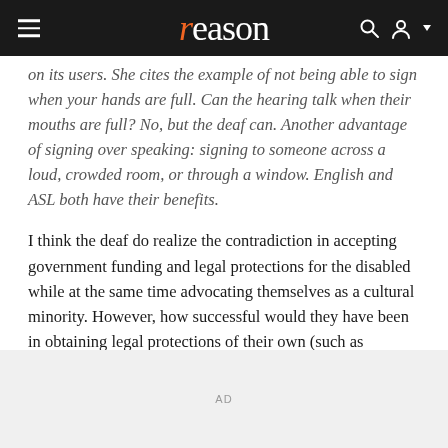reason
on its users. She cites the example of not being able to sign when your hands are full. Can the hearing talk when their mouths are full? No, but the deaf can. Another advantage of signing over speaking: signing to someone across a loud, crowded room, or through a window. English and ASL both have their benefits.
I think the deaf do realize the contradiction in accepting government funding and legal protections for the disabled while at the same time advocating themselves as a cultural minority. However, how successful would they have been in obtaining legal protections of their own (such as mandated interpreting services) if they hadn't joined with other disability groups?
AD